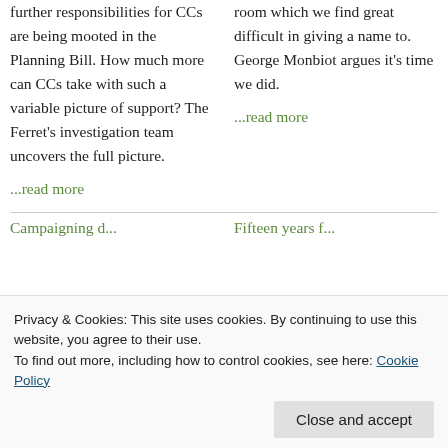further responsibilities for CCs are being mooted in the Planning Bill. How much more can CCs take with such a variable picture of support? The Ferret's investigation team uncovers the full picture.
...read more
room which we find great difficult in giving a name to. George Monbiot argues it's time we did.
...read more
Privacy & Cookies: This site uses cookies. By continuing to use this website, you agree to their use.
To find out more, including how to control cookies, see here: Cookie Policy